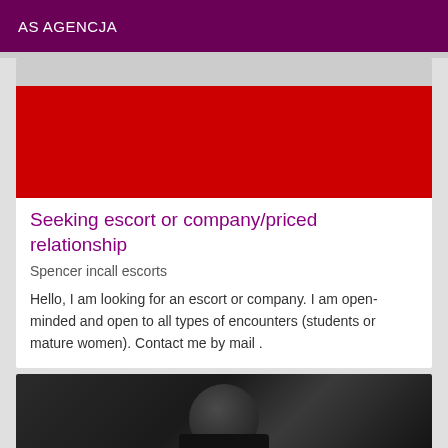AS AGENCJA
[Figure (photo): Red and gray image placeholder at top of listing card]
Seeking escort or company/priced relationship
Spencer incall escorts
Hello, I am looking for an escort or company. I am open-minded and open to all types of encounters (students or mature women). Contact me by mail .
[Figure (photo): Dark photo of a person wearing black clothing/hat, cropped at bottom of page]